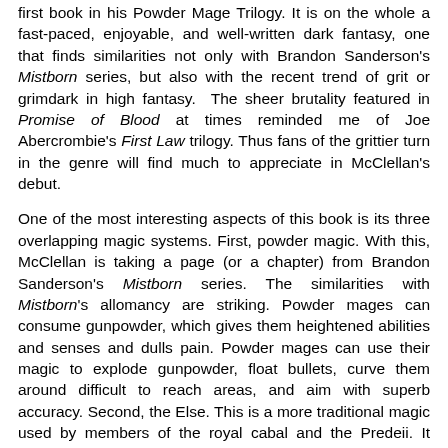first book in his Powder Mage Trilogy. It is on the whole a fast-paced, enjoyable, and well-written dark fantasy, one that finds similarities not only with Brandon Sanderson's Mistborn series, but also with the recent trend of grit or grimdark in high fantasy. The sheer brutality featured in Promise of Blood at times reminded me of Joe Abercrombie's First Law trilogy. Thus fans of the grittier turn in the genre will find much to appreciate in McClellan's debut.
One of the most interesting aspects of this book is its three overlapping magic systems. First, powder magic. With this, McClellan is taking a page (or a chapter) from Brandon Sanderson's Mistborn series. The similarities with Mistborn's allomancy are striking. Powder mages can consume gunpowder, which gives them heightened abilities and senses and dulls pain. Powder mages can use their magic to explode gunpowder, float bullets, curve them around difficult to reach areas, and aim with superb accuracy. Second, the Else. This is a more traditional magic used by members of the royal cabal and the Predeii. It involves manipulating "the Else," the energy that surrounds us in our world. And sorcerers must put on their special rune-based gloves in